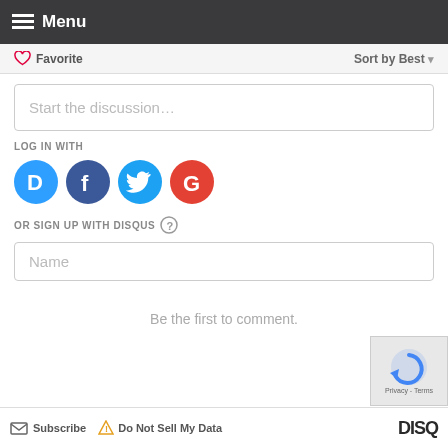Menu
Favorite   Sort by Best
Start the discussion...
LOG IN WITH
[Figure (infographic): Four social login icons: Disqus (blue circle with D), Facebook (dark blue circle with f), Twitter (light blue circle with bird), Google (red circle with G)]
OR SIGN UP WITH DISQUS ?
Name
Be the first to comment.
Subscribe   Do Not Sell My Data   DISQUS